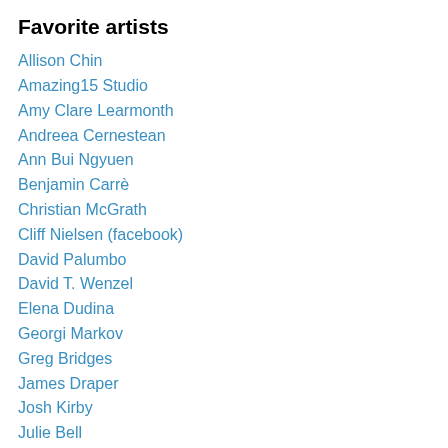Favorite artists
Allison Chin
Amazing15 Studio
Amy Clare Learmonth
Andreea Cernestean
Ann Bui Ngyuen
Benjamin Carrè
Christian McGrath
Cliff Nielsen (facebook)
David Palumbo
David T. Wenzel
Elena Dudina
Georgi Markov
Greg Bridges
James Draper
Josh Kirby
Julie Bell
Keith Parkinson
Larry Elmore
Larry Rostant